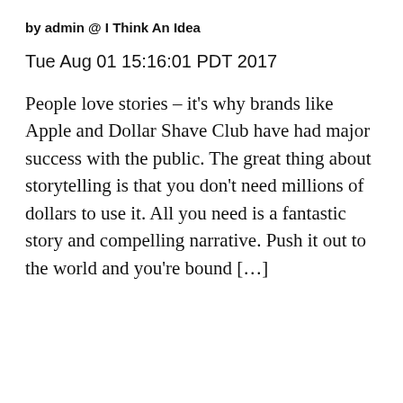by admin @ I Think An Idea
Tue Aug 01 15:16:01 PDT 2017
People love stories – it's why brands like Apple and Dollar Shave Club have had major success with the public. The great thing about storytelling is that you don't need millions of dollars to use it. All you need is a fantastic story and compelling narrative. Push it out to the world and you're bound […]